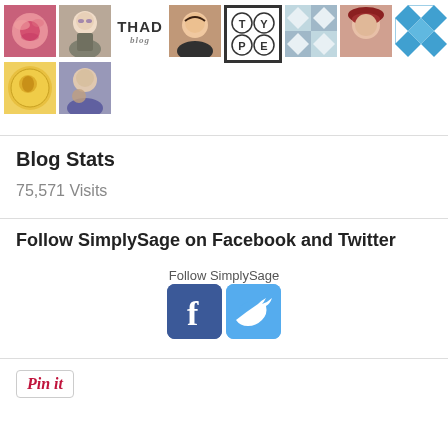[Figure (screenshot): Grid of user avatar thumbnails including a rose photo, elderly woman, THAD text logo, Asian woman, type buttons logo, quilt pattern, woman with hat, blue diamond pattern, gold coin, and woman holding dog]
Blog Stats
75,571 Visits
Follow SimplySage on Facebook and Twitter
Follow SimplySage
[Figure (logo): Facebook and Twitter social media icon buttons]
[Figure (other): Pin it button]